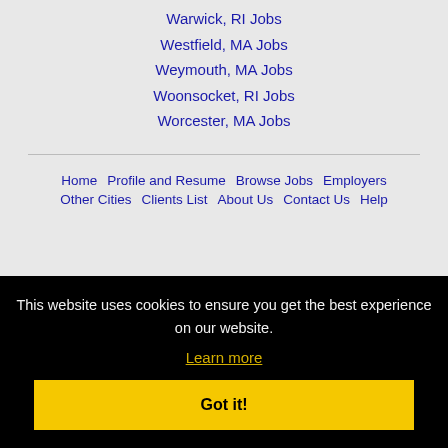Warwick, RI Jobs
Westfield, MA Jobs
Weymouth, MA Jobs
Woonsocket, RI Jobs
Worcester, MA Jobs
Home | Profile and Resume | Browse Jobs | Employers | Other Cities | Clients List | About Us | Contact Us | Help
This website uses cookies to ensure you get the best experience on our website.
Learn more
Got it!